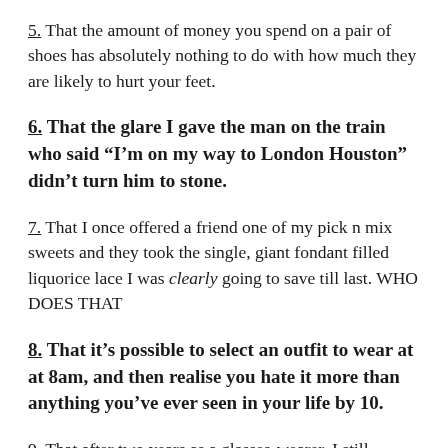5. That the amount of money you spend on a pair of shoes has absolutely nothing to do with how much they are likely to hurt your feet.
6. That the glare I gave the man on the train who said “I’m on my way to London Houston” didn’t turn him to stone.
7. That I once offered a friend one of my pick n mix sweets and they took the single, giant fondant filled liquorice lace I was clearly going to save till last. WHO DOES THAT
8. That it’s possible to select an outfit to wear at at 8am, and then realise you hate it more than anything you’ve ever seen in your life by 10.
9. That after two years as a glasses-wearer, I still